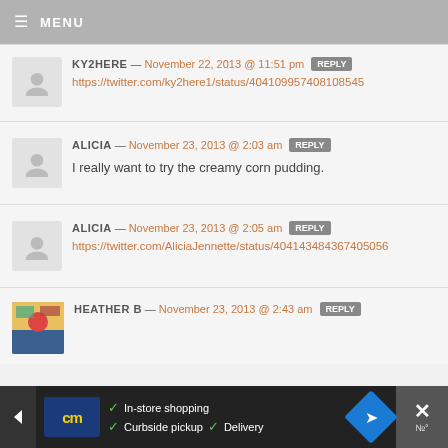MENU
KY2HERE — November 22, 2013 @ 11:51 pm  REPLY
https://twitter.com/ky2here1/status/404109957408108545
ALICIA — November 23, 2013 @ 2:03 am  REPLY
I really want to try the creamy corn pudding.
ALICIA — November 23, 2013 @ 2:05 am  REPLY
https://twitter.com/AliciaJennette/status/404143484367405056
HEATHER B — November 23, 2013 @ 2:43 am  REPLY